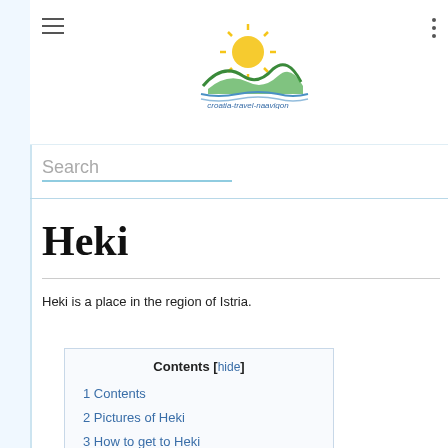[Figure (logo): Croatia Travel Navigation website logo with sun and hills graphic and text 'croatia-travel-naavigon']
Search
Heki
Heki is a place in the region of Istria.
Contents [hide]
1 Contents
2 Pictures of Heki
3 How to get to Heki
4 Here is Heki located